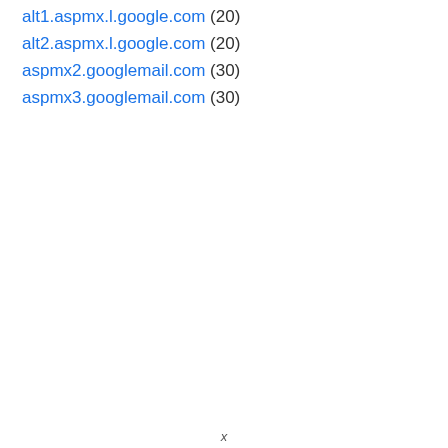alt1.aspmx.l.google.com (20)
alt2.aspmx.l.google.com (20)
aspmx2.googlemail.com (30)
aspmx3.googlemail.com (30)